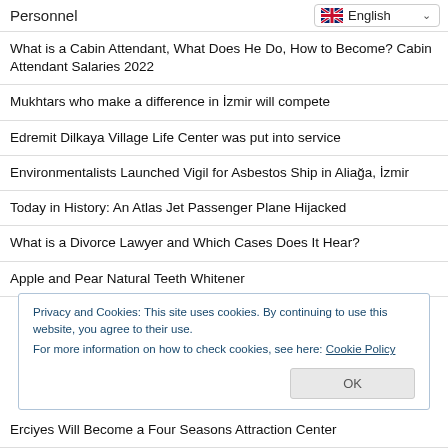Personnel
What is a Cabin Attendant, What Does He Do, How to Become? Cabin Attendant Salaries 2022
Mukhtars who make a difference in İzmir will compete
Edremit Dilkaya Village Life Center was put into service
Environmentalists Launched Vigil for Asbestos Ship in Aliağa, İzmir
Today in History: An Atlas Jet Passenger Plane Hijacked
What is a Divorce Lawyer and Which Cases Does It Hear?
Apple and Pear Natural Teeth Whitener
Privacy and Cookies: This site uses cookies. By continuing to use this website, you agree to their use.
For more information on how to check cookies, see here: Cookie Policy
Erciyes Will Become a Four Seasons Attraction Center